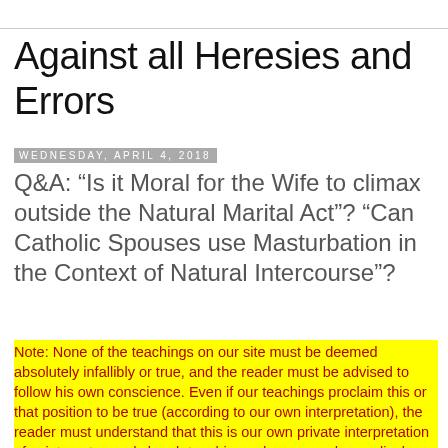Against all Heresies and Errors
Wednesday, April 4, 2018
Q&A: “Is it Moral for the Wife to climax outside the Natural Marital Act”? “Can Catholic Spouses use Masturbation in the Context of Natural Intercourse”?
Note: None of the teachings on our site must be deemed absolutely infallibly or true, and the reader must be advised to follow his own conscience. Even if our teachings proclaim this or that position to be true (according to our own interpretation), the reader must understand that this is our own private interpretation of saint quotes and church teachings, dogmas and encyclicals. Whatever the case may be, always follow what you think the